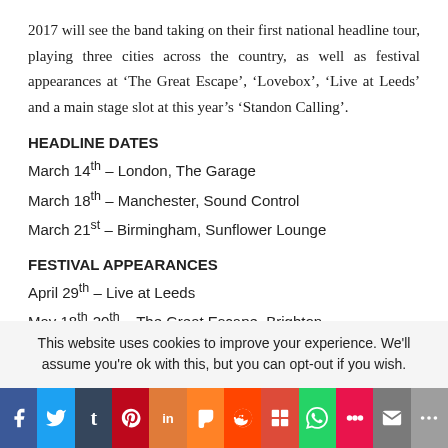2017 will see the band taking on their first national headline tour, playing three cities across the country, as well as festival appearances at ‘The Great Escape’, ‘Lovebox’, ‘Live at Leeds’ and a main stage slot at this year’s ‘Standon Calling’.
HEADLINE DATES
March 14th – London, The Garage
March 18th – Manchester, Sound Control
March 21st – Birmingham, Sunflower Lounge
FESTIVAL APPEARANCES
April 29th – Live at Leeds
May 18th-20th – The Great Escape, Brighton
This website uses cookies to improve your experience. We'll assume you're ok with this, but you can opt-out if you wish.